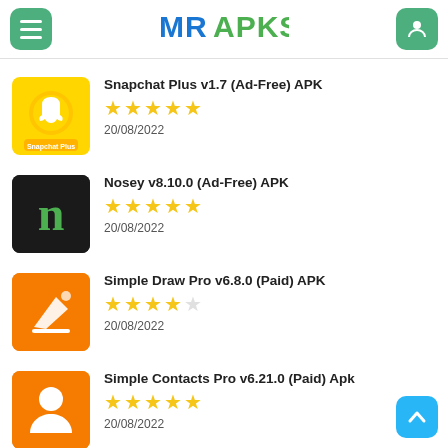MRAPKS
Snapchat Plus v1.7 (Ad-Free) APK — 5 stars — 20/08/2022
Nosey v8.10.0 (Ad-Free) APK — 5 stars — 20/08/2022
Simple Draw Pro v6.8.0 (Paid) APK — 4 stars — 20/08/2022
Simple Contacts Pro v6.21.0 (Paid) Apk — 5 stars — 20/08/2022